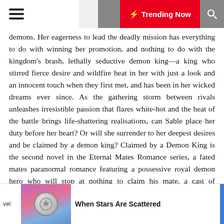☰  ☽  ⚡ Trending Now  🔍
demons. Her eagerness to lead the deadly mission has everything to do with winning her promotion, and nothing to do with the kingdom's brash, lethally seductive demon king—a king who stirred fierce desire and wildfire heat in her with just a look and an innocent touch when they first met, and has been in her wicked dreams ever since. As the gathering storm between rivals unleashes irresistible passion that flares white-hot and the heat of the battle brings life-shattering realisations, can Sable place her duty before her heart? Or will she surrender to her deepest desires and be claimed by a demon king? Claimed by a Demon King is the second novel in the Eternal Mates Romance series, a fated mates paranormal romance featuring a possessive royal demon hero who will stop at nothing to claim his mate, a cast of vampires, demons, dark elves, wolf shifters, immortals and demon hunters, and full of action and adventure--and steamy scenes! This book can be read out of order. All Eternal Mates world books have no cliffhangers, a guaranteed happily ever after, some strong language and sexy times. Enjoy! If you like Kresley Cole's Immortals
vel   When Stars Are Scattered